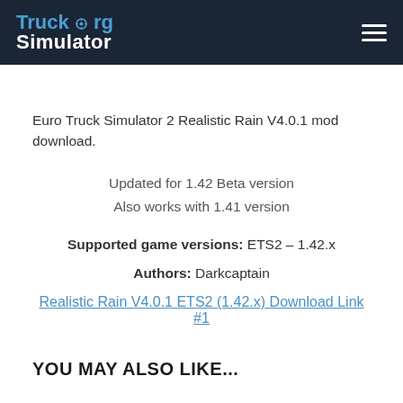Truck.org Simulator
Euro Truck Simulator 2 Realistic Rain V4.0.1 mod download.
Updated for 1.42 Beta version
Also works with 1.41 version
Supported game versions: ETS2 – 1.42.x
Authors: Darkcaptain
Realistic Rain V4.0.1 ETS2 (1.42.x) Download Link #1
YOU MAY ALSO LIKE...